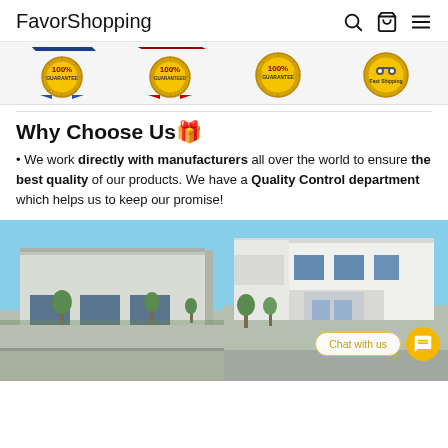FavorShopping
[Figure (illustration): Four badge/seal icons: two gold 100% Guarantee seals, one red/gold 100% Guaranteed seal, one gold Fast Shipping seal]
Why Choose Us🎁
We work directly with manufacturers all over the world to ensure the best quality of our products. We have a Quality Control department which helps us to keep our promise!
[Figure (photo): Two-panel photo of commercial/industrial warehouse buildings with blue sky. Left panel shows a large grey industrial building; right panel shows a white office/commercial building. A 'Chat with us' bubble and orange chat button appear in the lower right corner.]